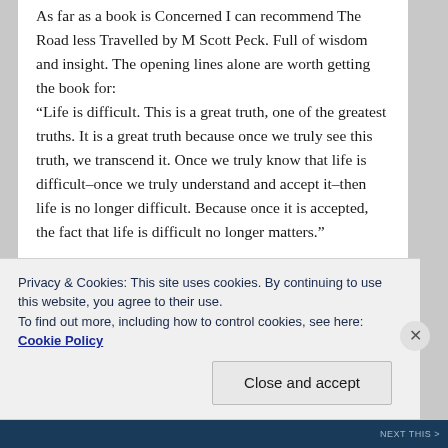As far as a book is Concerned I can recommend The Road less Travelled by M Scott Peck. Full of wisdom and insight. The opening lines alone are worth getting the book for:
“Life is difficult. This is a great truth, one of the greatest truths. It is a great truth because once we truly see this truth, we transcend it. Once we truly know that life is difficult–once we truly understand and accept it–then life is no longer difficult. Because once it is accepted, the fact that life is difficult no longer matters.”

It amazes me how much damage I have done by expecting life to be something other than difficult and how much easier my life is when I accept that
Privacy & Cookies: This site uses cookies. By continuing to use this website, you agree to their use.
To find out more, including how to control cookies, see here: Cookie Policy
Close and accept